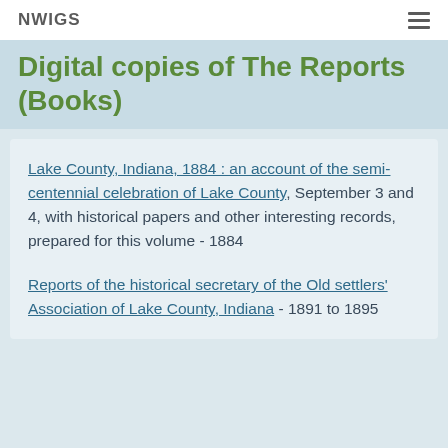NWIGS
Digital copies of The Reports (Books)
Lake County, Indiana, 1884 : an account of the semi-centennial celebration of Lake County, September 3 and 4, with historical papers and other interesting records, prepared for this volume - 1884
Reports of the historical secretary of the Old settlers' Association of Lake County, Indiana - 1891 to 1895